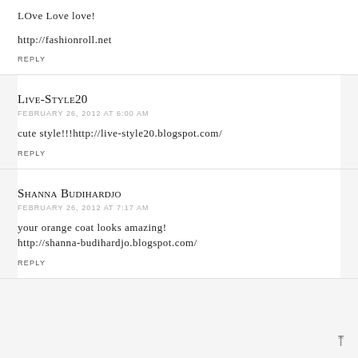LOve Love love!
http://fashionroll.net
REPLY
Live-Style20
FEBRUARY 26, 2012 AT 6:00 AM
cute style!!!http://live-style20.blogspot.com/
REPLY
Shanna Budihardjo
FEBRUARY 26, 2012 AT 7:17 AM
your orange coat looks amazing!
http://shanna-budihardjo.blogspot.com/
REPLY